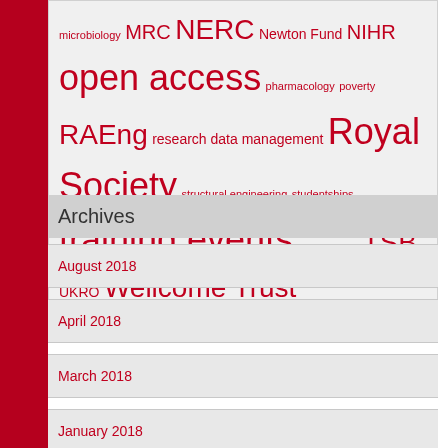microbiology MRC NERC Newton Fund NIHR open access pharmacology poverty RAEng research data management Royal Society structural engineering studentships training events travel grants TSB UKRO Wellcome Trust
Archives
August 2018
April 2018
March 2018
January 2018